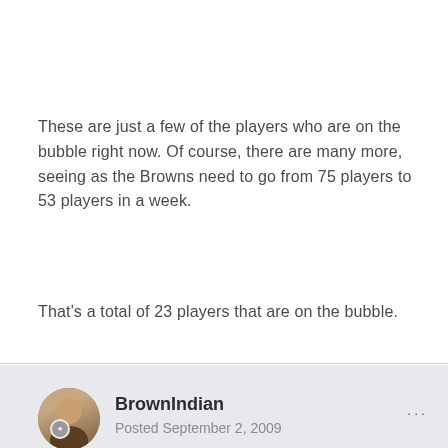These are just a few of the players who are on the bubble right now. Of course, there are many more, seeing as the Browns need to go from 75 players to 53 players in a week.
That's a total of 23 players that are on the bubble.
BrownIndian
Posted September 2, 2009
from: http://bleacherreport.com/articles/246817-...ubble-bowl-